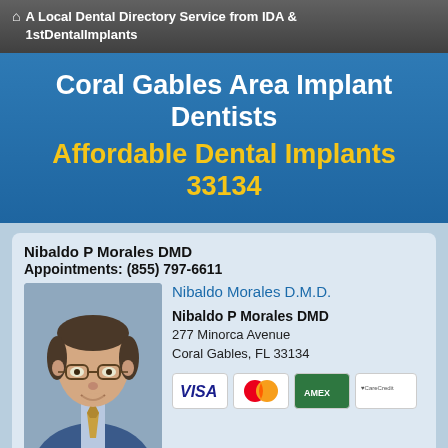A Local Dental Directory Service from IDA & 1stDentalImplants
Coral Gables Area Implant Dentists
Affordable Dental Implants 33134
Nibaldo P Morales DMD
Appointments: (855) 797-6611
[Figure (photo): Portrait photo of Nibaldo Morales D.M.D., a middle-aged man with glasses wearing a blue suit and striped tie]
Nibaldo Morales D.M.D.
Nibaldo P Morales DMD
277 Minorca Avenue
Coral Gables, FL 33134
[Figure (infographic): Payment method icons: Visa, MasterCard, American Express, CareCredit]
Make Appt    Meet Dr. Morales    Website
more info ...